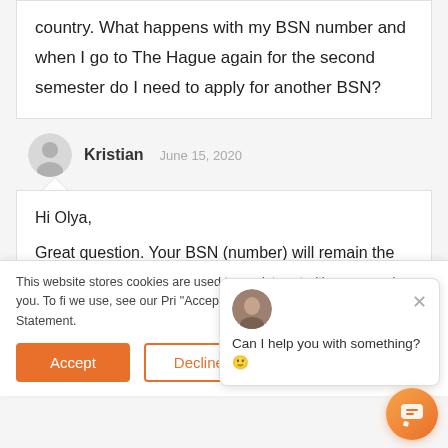country. What happens with my BSN number and when I go to The Hague again for the second semester do I need to apply for another BSN?
Kristian   June 15, 2020
Hi Olya,
Great question. Your BSN (number) will remain the
This website stores cookies are used to you interact with our remember you. To fi we use, see our Pri "Accept," you agree with our Cookie Statement.
Can I help you with something? 🙂